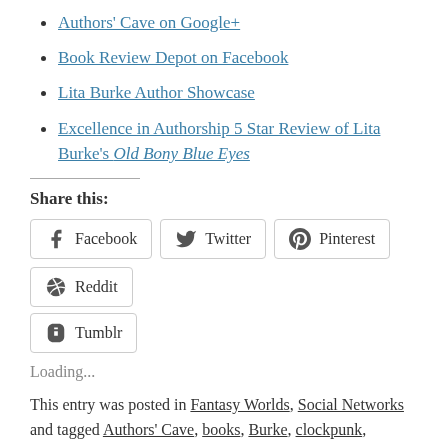Authors' Cave on Google+
Book Review Depot on Facebook
Lita Burke Author Showcase
Excellence in Authorship 5 Star Review of Lita Burke's Old Bony Blue Eyes
Share this:
Facebook  Twitter  Pinterest  Reddit  Tumblr
Loading...
This entry was posted in Fantasy Worlds, Social Networks and tagged Authors' Cave, books, Burke, clockpunk, Clockpunk Wizard, dragonette, enchanters, entertainment, fantasy, fantasy world, fantasy worlds, Indie, lita, Lita Burke, literature, rich fantasy,